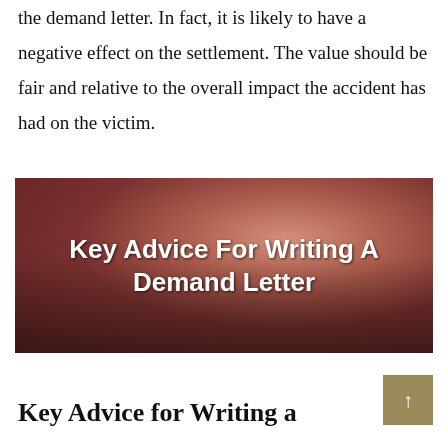the demand letter. In fact, it is likely to have a negative effect on the settlement. The value should be fair and relative to the overall impact the accident has had on the victim.
[Figure (photo): Person typing on a laptop keyboard, with bold white text overlay reading 'Key Advice For Writing A Demand Letter']
Key Advice for Writing a